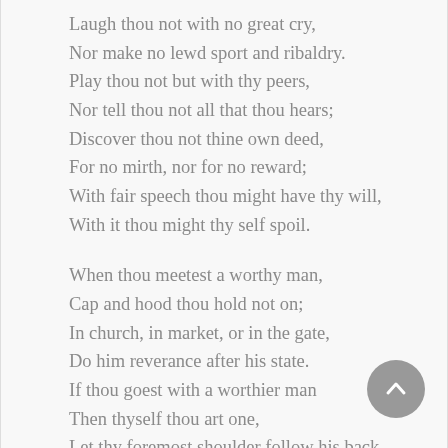Laugh thou not with no great cry,
Nor make no lewd sport and ribaldry.
Play thou not but with thy peers,
Nor tell thou not all that thou hears;
Discover thou not thine own deed,
For no mirth, nor for no reward;
With fair speech thou might have thy will,
With it thou might thy self spoil.

When thou meetest a worthy man,
Cap and hood thou hold not on;
In church, in market, or in the gate,
Do him reverance after his state.
If thou goest with a worthier man
Then thyself thou art one,
Let thy foremost shoulder follow his back,
For that is nurture without lack;